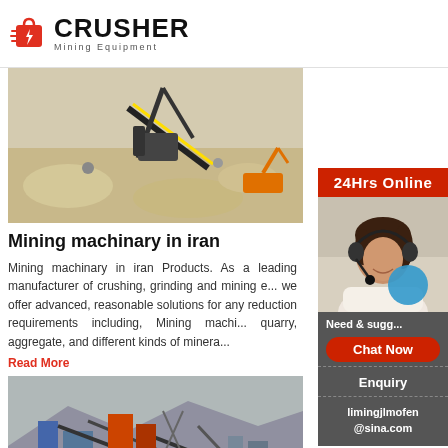CRUSHER Mining Equipment
[Figure (illustration): 3D rendering of a mining crushing operation with machinery, conveyor belts, and excavators on a sandy terrain]
Mining machinary in iran
Mining machinary in iran Products. As a leading manufacturer of crushing, grinding and mining e... we offer advanced, reasonable solutions for any reduction requirements including, Mining machi... quarry, aggregate, and different kinds of minera...
Read More
[Figure (photo): Photo of a real mining/crushing plant facility with conveyors and industrial equipment in a mountainous area]
[Figure (infographic): Sidebar with 24Hrs Online banner, customer service photo, chat now button, Enquiry link, and limingjlmofen@sina.com contact]